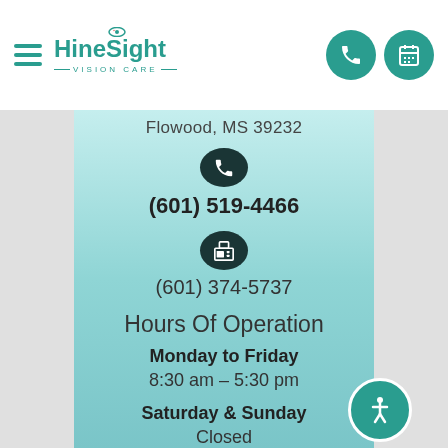HineSight Vision Care — navigation bar with hamburger menu, logo, phone and calendar icons
Flowood, MS 39232
(601) 519-4466
(601) 374-5737
Hours Of Operation
Monday to Friday
8:30 am – 5:30 pm
Saturday & Sunday
Closed